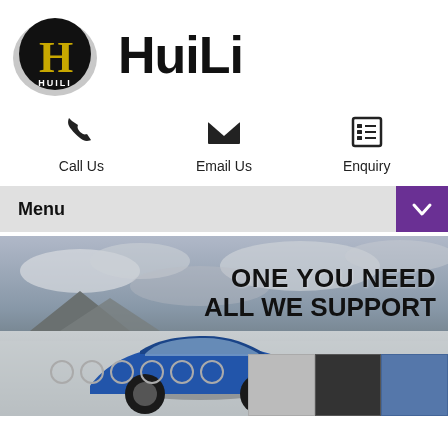[Figure (logo): HuiLi company logo: black circular badge with gold H letter and HUILI text, grey blob shadow behind it]
HuiLi
[Figure (infographic): Three contact action icons: phone handset (Call Us), envelope (Email Us), list/form icon (Enquiry)]
Call Us
Email Us
Enquiry
[Figure (screenshot): Menu navigation bar with bold Menu text on left and purple dropdown arrow button on right]
[Figure (photo): Banner image showing a blue sports car on a desert/beach landscape with dramatic cloudy sky. Text overlay reads ONE YOU NEED ALL WE SUPPORT. Bottom shows thumbnail images of car accessories and a carousel dot indicator.]